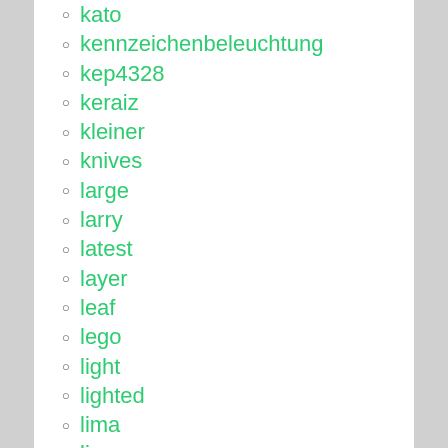kato
kennzeichenbeleuchtung
kep4328
keraiz
kleiner
knives
large
larry
latest
layer
leaf
lego
light
lighted
lima
lime
limited
limo